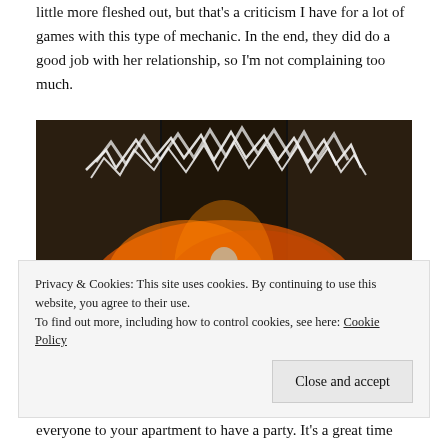little more fleshed out, but that's a criticism I have for a lot of games with this type of mechanic. In the end, they did do a good job with her relationship, so I'm not complaining too much.
[Figure (photo): A character in a video game standing in front of a colorful graffiti mural with glowing white text/lightning effects in the background. The character is wearing armor and has arms spread wide. The scene appears to be from a sci-fi or action video game.]
Privacy & Cookies: This site uses cookies. By continuing to use this website, you agree to their use. To find out more, including how to control cookies, see here: Cookie Policy
Close and accept
everyone to your apartment to have a party. It's a great time